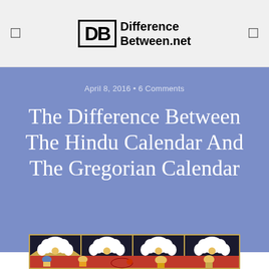DB DifferenceBetween.net
April 8, 2016 • 6 Comments
The Difference Between The Hindu Calendar And The Gregorian Calendar
[Figure (photo): An illuminated manuscript page showing decorative floral/lotus motifs in arched panels with figures below, in red, black, white, and gold colors — appears to be a Hindu or medieval Indian manuscript illustration.]